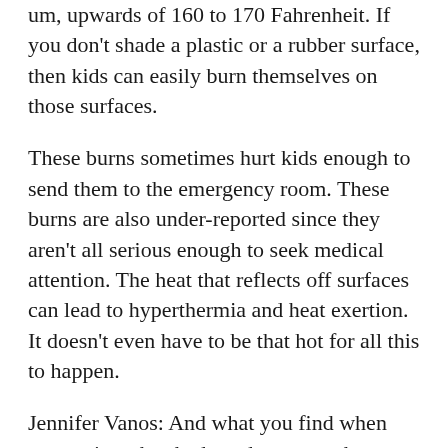um, upwards of 160 to 170 Fahrenheit. If you don't shade a plastic or a rubber surface, then kids can easily burn themselves on those surfaces.
These burns sometimes hurt kids enough to send them to the emergency room. These burns are also under-reported since they aren't all serious enough to seek medical attention. The heat that reflects off surfaces can lead to hyperthermia and heat exertion. It doesn't even have to be that hot for all this to happen.
Jennifer Vanos: And what you find when you go into the shade and measure the surface temperatures in the shade is that they will generally almost reach as low as air temperature. If it's on grass, then it can be even cooler.
So, take a typical summer day: It's 80 degrees out and sunny. A shaded, grass playground will be fine, but on an unshaded playground on that same day it can be dangerous for kids and parents who won't